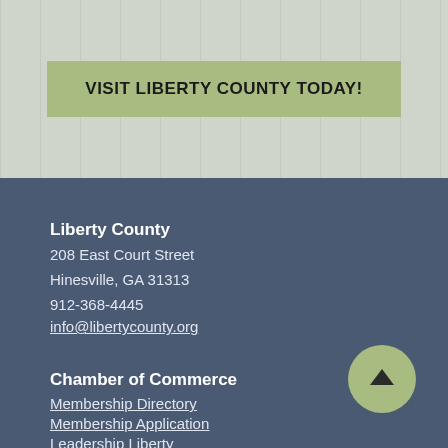VISIT LIBERTY COUNTY TODAY!
Liberty County
208 East Court Street
Hinesville, GA 31313
912-368-4445
info@libertycounty.org
[Figure (other): Green circular button with upward arrow for scrolling to top]
Chamber of Commerce
Membership Directory
Membership Application
Leadership Liberty